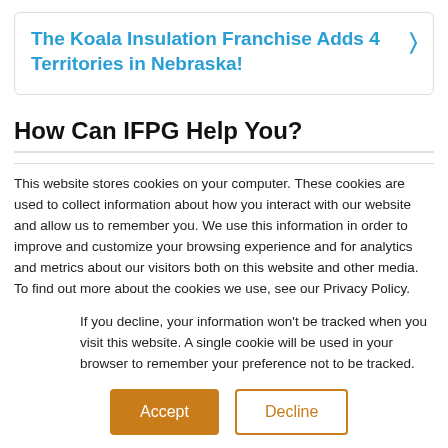The Koala Insulation Franchise Adds 4 Territories in Nebraska!
How Can IFPG Help You?
This website stores cookies on your computer. These cookies are used to collect information about how you interact with our website and allow us to remember you. We use this information in order to improve and customize your browsing experience and for analytics and metrics about our visitors both on this website and other media. To find out more about the cookies we use, see our Privacy Policy.
If you decline, your information won't be tracked when you visit this website. A single cookie will be used in your browser to remember your preference not to be tracked.